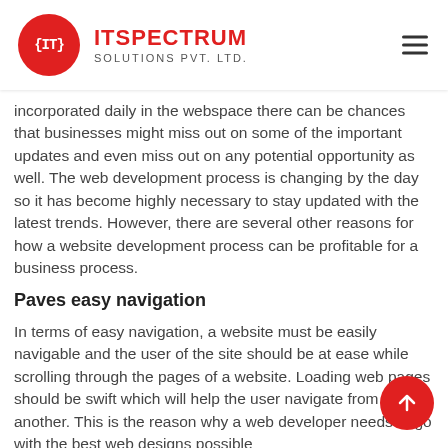ITSPECTRUM SOLUTIONS PVT. LTD.
incorporated daily in the webspace there can be chances that businesses might miss out on some of the important updates and even miss out on any potential opportunity as well. The web development process is changing by the day so it has become highly necessary to stay updated with the latest trends. However, there are several other reasons for how a website development process can be profitable for a business process.
Paves easy navigation
In terms of easy navigation, a website must be easily navigable and the user of the site should be at ease while scrolling through the pages of a website. Loading web pages should be swift which will help the user navigate from one to another. This is the reason why a web developer needs to go with the best web designs possible